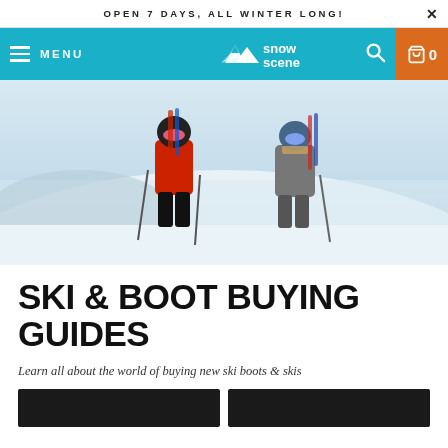OPEN 7 DAYS, ALL WINTER LONG!
[Figure (screenshot): Snow Scene website navigation bar with teal background, hamburger menu, Snow Scene logo, search icon, and orange cart button showing 0 items]
[Figure (photo): Two skiers walking on a snowy slope, one in a red jacket and black helmet with pink goggles carrying ski poles, the other in a grey jacket with blue helmet and goggles carrying skis]
SKI & BOOT BUYING GUIDES
Learn all about the world of buying new ski boots & skis
[Figure (photo): Two partially visible dark thumbnail images at the bottom of the page]